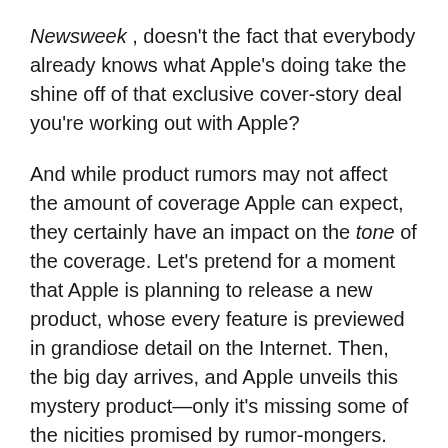Newsweek, doesn't the fact that everybody already knows what Apple's doing take the shine off of that exclusive cover-story deal you're working out with Apple?
And while product rumors may not affect the amount of coverage Apple can expect, they certainly have an impact on the tone of the coverage. Let's pretend for a moment that Apple is planning to release a new product, whose every feature is previewed in grandiose detail on the Internet. Then, the big day arrives, and Apple unveils this mystery product—only it's missing some of the nicities promised by rumor-mongers. The story then mutates from Apple has this great new product to Why did Apple skimp on features?
This isn't some theoretical construct, either. When